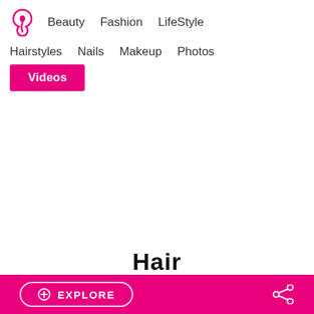Beauty  Fashion  LifeStyle  Hairstyles  Nails  Makeup  Photos  Videos
Hair
[Figure (photo): Close-up photo of a woman with dark hair pulled back sleekly, showing forehead, eyebrows, and top of face against a tan/khaki background]
EXPLORE